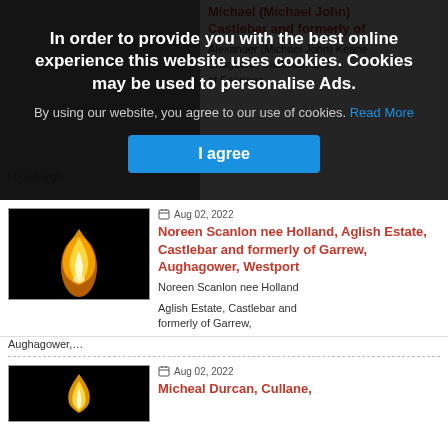In order to provide you with the best online experience this website uses cookies. Cookies may be used to personalise Ads.
By using our website, you agree to our use of cookies. Read More
I agree
Aug 02, 2022
Noreen Scanlon nee Holland, Aglish Estate, Castlebar and formerly of Garrew, Aughagower, Westport
Noreen Scanlon nee Holland

Aglish Estate, Castlebar and formerly of Garrew,
Aughagower,...
Aug 02, 2022
Micheal Durcan, Cullane,